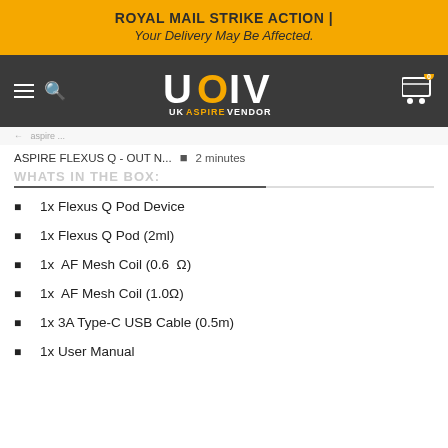ROYAL MAIL STRIKE ACTION | Your Delivery May Be Affected.
[Figure (logo): UK Aspire Vendor logo: large white and gold letters U, O, I, V with text 'UK ASPIRE VENDOR' below in white and gold]
ASPIRE FLEXUS Q - OUT N... • 2 minutes
WHATS IN THE BOX:
1x Flexus Q Pod Device
1x Flexus Q Pod (2ml)
1x  AF Mesh Coil (0.6  Ω)
1x  AF Mesh Coil (1.0Ω)
1x 3A Type-C USB Cable (0.5m)
1x User Manual